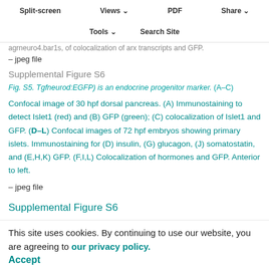Split-screen  Views  PDF  Share
Tools  Search Site
agrneuro4.bar1s, of colocalization of arx transcripts and GFP.
– jpeg file
Supplemental Figure S6
Fig. S5. Tgfneurod:EGFP) is an endocrine progenitor marker. (A–C) Confocal image of 30 hpf dorsal pancreas. (A) Immunostaining to detect Islet1 (red) and (B) GFP (green); (C) colocalization of Islet1 and GFP. (D–L) Confocal images of 72 hpf embryos showing primary islets. Immunostaining for (D) insulin, (G) glucagon, (J) somatostatin, and (E,H,K) GFP. (F,I,L) Colocalization of hormones and GFP. Anterior to left.
– jpeg file
Supplemental Figure S6
Fig. S6. Mnx1-deficient embryos have expanded expression of the arx alpha cell marker. (A-D) Whole-mount in situ hybridization for arx in control and Mnx1 morphant embryos at the indicated stages, MO-, MO-
This site uses cookies. By continuing to use our website, you are agreeing to our privacy policy.
Accept